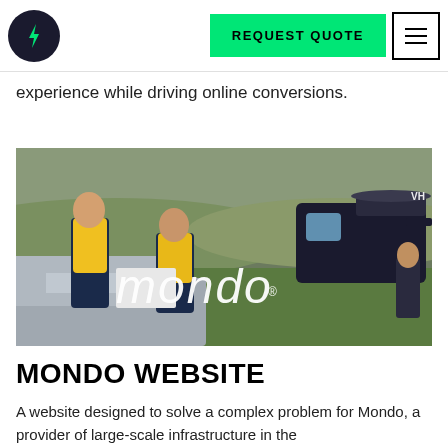REQUEST QUOTE [navigation bar with logo and hamburger menu]
experience while driving online conversions.
[Figure (photo): Two workers in high-visibility yellow jackets looking at documents on the hood of a vehicle, with a helicopter visible in the background on a green field. The Mondo logo is overlaid in white script text on the image.]
MONDO WEBSITE
A website designed to solve a complex problem for Mondo, a provider of large-scale infrastructure in the